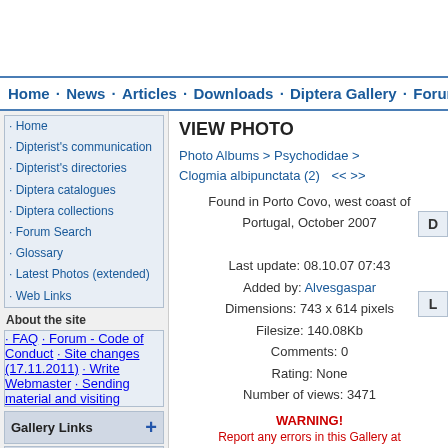Home · News · Articles · Downloads · Diptera Gallery · Forum · Forum S
· Home
· Dipterist's communication
· Dipterist's directories
· Diptera catalogues
· Diptera collections
· Forum Search
· Glossary
· Latest Photos (extended)
· Web Links
About the site
· FAQ
· Forum - Code of Conduct
· Site changes (17.11.2011)
· Write Webmaster
· Sending material and visiting
Gallery Links
Users Online
VIEW PHOTO
Photo Albums > Psychodidae > Clogmia albipunctata (2)   << >>
Found in Porto Covo, west coast of Portugal, October 2007
Last update: 08.10.07 07:43
Added by: Alvesgaspar
Dimensions: 743 x 614 pixels
Filesize: 140.08Kb
Comments: 0
Rating: None
Number of views: 3471
WARNING!
Report any errors in this Gallery at
https://diptera.info/forum/viewforum.php?forum_id=25,